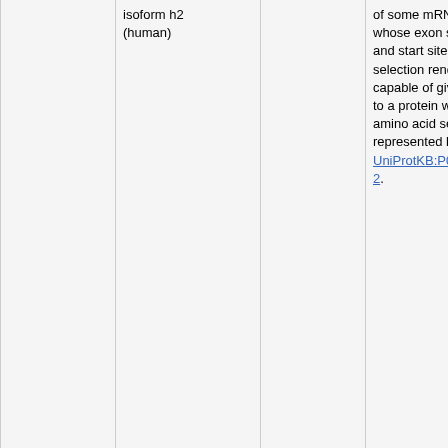| ID | Name | Synonym | Description |
| --- | --- | --- | --- |
|  | isoform h2 (human) |  | of some mRNA whose exon structure and start site selection renders it capable of giving rise to a protein with the amino acid sequence represented by UniProtKB:P0813 2. |
| PR:000048602 organism-modification | tumor necrosis factor receptor superfamily member 16, signal peptide removed form (human) | hNGFR/SigPep- | A tumor necrosis factor receptor superfamily member 16 (human) that has had the signal peptide removed. UniProtKB:P0813 29-427. |